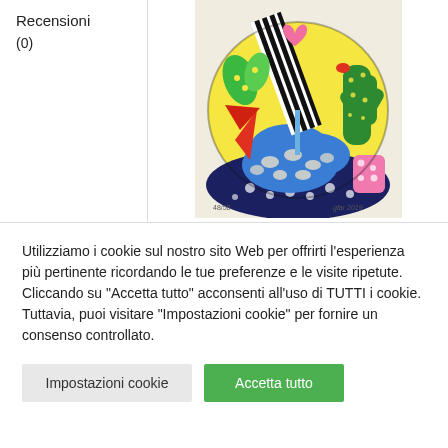Recensioni
(0)
[Figure (illustration): Colorful pop-art style illustration featuring plants, cacti, geometric shapes with bright colors including red, blue, green, yellow, pink and black-and-white stripes. Artist signature visible at bottom right with year 2019.]
Utilizziamo i cookie sul nostro sito Web per offrirti l'esperienza più pertinente ricordando le tue preferenze e le visite ripetute. Cliccando su “Accetta tutto” acconsenti all'uso di TUTTI i cookie. Tuttavia, puoi visitare "Impostazioni cookie" per fornire un consenso controllato.
Impostazioni cookie
Accetta tutto